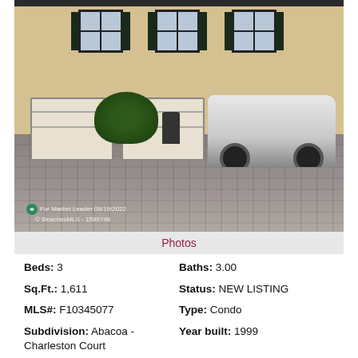[Figure (photo): Exterior photo of a townhouse/condo with tan/yellow stucco facade, two white garage doors, green shutters, brick paver driveway, a large shrub in the center, a trash can, and a white Jeep parked to the right. Watermark reads: For Market Leader 08/19/2022 © BeachesMLS - 1599748]
Photos
Beds: 3
Baths: 3.00
Sq.Ft.: 1,611
Status: NEW LISTING
MLS#: F10345077
Type: Condo
Subdivision: Abacoa - Charleston Court
Year built: 1999